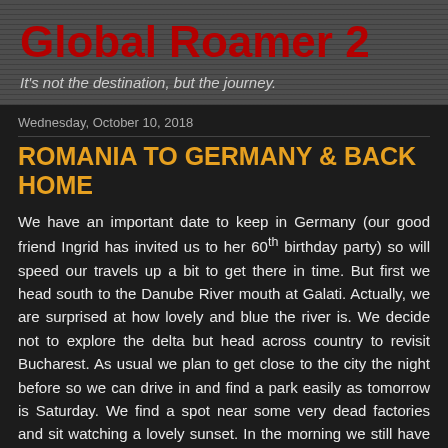Global Roamer 2
It's not the destination, but the journey.
Wednesday, October 10, 2018
ROMANIA TO GERMANY & BACK HOME
We have an important date to keep in Germany (our good friend Ingrid has invited us to her 60th birthday party) so will speed our travels up a bit to get there in time. But first we head south to the Danube River mouth at Galati. Actually, we are surprised at how lovely and blue the river is. We decide not to explore the delta but head across country to revisit Bucharest. As usual we plan to get close to the city the night before so we can drive in and find a park easily as tomorrow is Saturday. We find a spot near some very dead factories and sit watching a lovely sunset. In the morning we still have 100km to go to get to the city, but there are